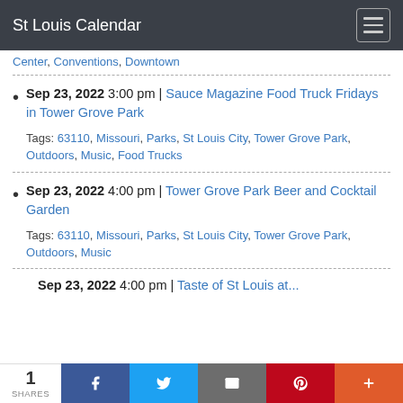St Louis Calendar
Center, Conventions, Downtown
Sep 23, 2022 3:00 pm | Sauce Magazine Food Truck Fridays in Tower Grove Park
Tags: 63110, Missouri, Parks, St Louis City, Tower Grove Park, Outdoors, Music, Food Trucks
Sep 23, 2022 4:00 pm | Tower Grove Park Beer and Cocktail Garden
Tags: 63110, Missouri, Parks, St Louis City, Tower Grove Park, Outdoors, Music
Sep 23, 2022 4:00 pm | Taste of St Louis at...